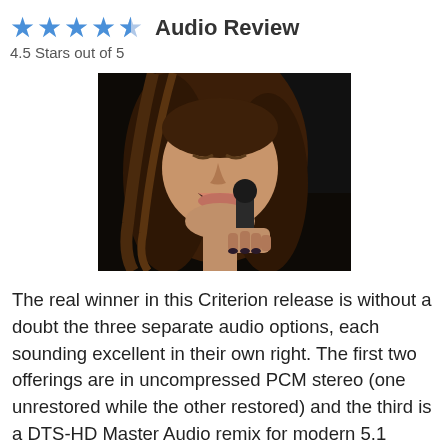★★★★☆ Audio Review
4.5 Stars out of 5
[Figure (photo): Close-up photo of a woman with long brown hair singing passionately into a microphone against a dark background]
The real winner in this Criterion release is without a doubt the three separate audio options, each sounding excellent in their own right. The first two offerings are in uncompressed PCM stereo (one unrestored while the other restored) and the third is a DTS-HD Master Audio remix for modern 5.1 sound